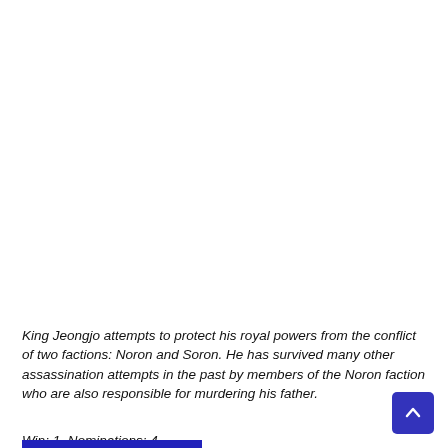King Jeongjo attempts to protect his royal powers from the conflict of two factions: Noron and Soron. He has survived many other assassination attempts in the past by members of the Noron faction who are also responsible for murdering his father.
Win: 1  Nominations: 4